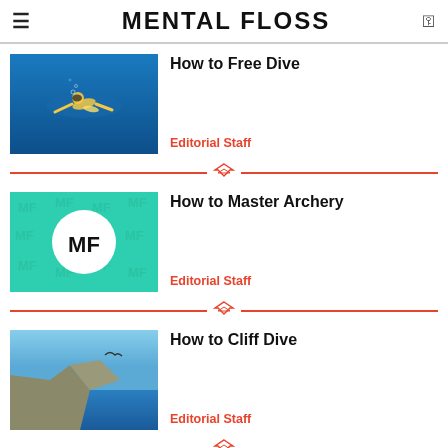MENTAL FLOSS
How to Free Dive
Editorial Staff
How to Master Archery
Editorial Staff
How to Cliff Dive
Editorial Staff